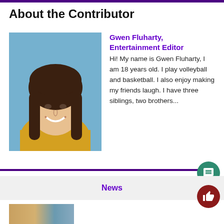About the Contributor
[Figure (photo): School portrait photo of Gwen Fluharty, a young woman with long brown hair, smiling, wearing a yellow/mustard top, against a blue background.]
Gwen Fluharty, Entertainment Editor
Hi! My name is Gwen Fluharty, I am 18 years old. I play volleyball and basketball. I also enjoy making my friends laugh. I have three siblings, two brothers...
News
[Figure (photo): Partial image visible at the bottom of the page, appears to be a news article photo.]